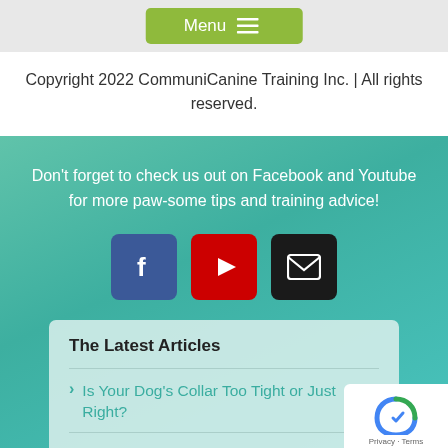Menu
Copyright 2022 CommuniCanine Training Inc. | All rights reserved.
Don't forget to check us out on Facebook and Youtube for more paw-some tips and training advice!
[Figure (infographic): Three social media icon buttons: Facebook (blue), YouTube (red), and Email/envelope (black)]
The Latest Articles
Is Your Dog's Collar Too Tight or Just Right?
Dogs Still Need to Be Dogs